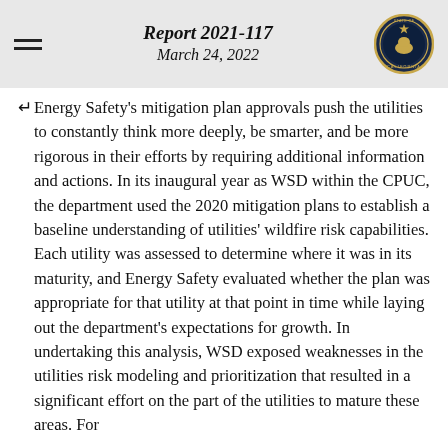Report 2021-117
March 24, 2022
Energy Safety's mitigation plan approvals push the utilities to constantly think more deeply, be smarter, and be more rigorous in their efforts by requiring additional information and actions. In its inaugural year as WSD within the CPUC, the department used the 2020 mitigation plans to establish a baseline understanding of utilities' wildfire risk capabilities. Each utility was assessed to determine where it was in its maturity, and Energy Safety evaluated whether the plan was appropriate for that utility at that point in time while laying out the department's expectations for growth. In undertaking this analysis, WSD exposed weaknesses in the utilities risk modeling and prioritization that resulted in a significant effort on the part of the utilities to mature these areas. For